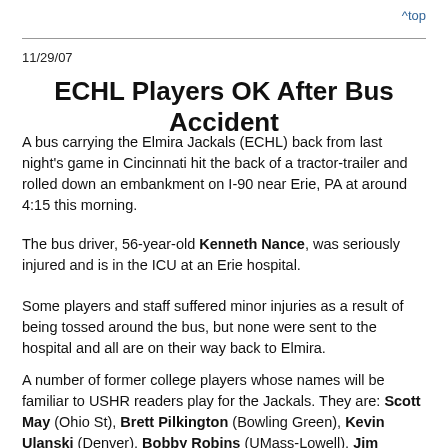^top
11/29/07
ECHL Players OK After Bus Accident
A bus carrying the Elmira Jackals (ECHL) back from last night's game in Cincinnati hit the back of a tractor-trailer and rolled down an embankment on I-90 near Erie, PA at around 4:15 this morning.
The bus driver, 56-year-old Kenneth Nance, was seriously injured and is in the ICU at an Erie hospital.
Some players and staff suffered minor injuries as a result of being tossed around the bus, but none were sent to the hospital and all are on their way back to Elmira.
A number of former college players whose names will be familiar to USHR readers play for the Jackals. They are: Scott May (Ohio St), Brett Pilkington (Bowling Green), Kevin Ulanski (Denver), Bobby Robins (UMass-Lowell), Jim McKenzie (Michigan St.), Chris Busby (Brown/Miami), Jekabs Redlihs (BU), Joe Grimaldi (Nebraska-Omaha), Jon Landry (Holy Cross), and Dan